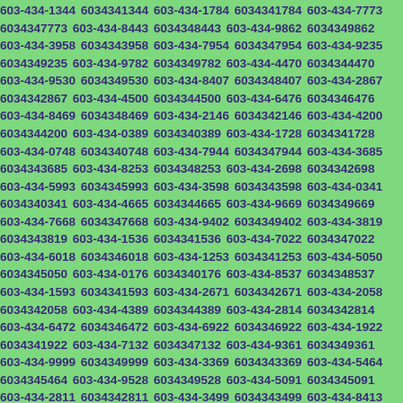603-434-1344 6034341344 603-434-1784 6034341784 603-434-7773 6034347773 603-434-8443 6034348443 603-434-9862 6034349862 603-434-3958 6034343958 603-434-7954 6034347954 603-434-9235 6034349235 603-434-9782 6034349782 603-434-4470 6034344470 603-434-9530 6034349530 603-434-8407 6034348407 603-434-2867 6034342867 603-434-4500 6034344500 603-434-6476 6034346476 603-434-8469 6034348469 603-434-2146 6034342146 603-434-4200 6034344200 603-434-0389 6034340389 603-434-1728 6034341728 603-434-0748 6034340748 603-434-7944 6034347944 603-434-3685 6034343685 603-434-8253 6034348253 603-434-2698 6034342698 603-434-5993 6034345993 603-434-3598 6034343598 603-434-0341 6034340341 603-434-4665 6034344665 603-434-9669 6034349669 603-434-7668 6034347668 603-434-9402 6034349402 603-434-3819 6034343819 603-434-1536 6034341536 603-434-7022 6034347022 603-434-6018 6034346018 603-434-1253 6034341253 603-434-5050 6034345050 603-434-0176 6034340176 603-434-8537 6034348537 603-434-1593 6034341593 603-434-2671 6034342671 603-434-2058 6034342058 603-434-4389 6034344389 603-434-2814 6034342814 603-434-6472 6034346472 603-434-6922 6034346922 603-434-1922 6034341922 603-434-7132 6034347132 603-434-9361 6034349361 603-434-9999 6034349999 603-434-3369 6034343369 603-434-5464 6034345464 603-434-9528 6034349528 603-434-5091 6034345091 603-434-2811 6034342811 603-434-3499 6034343499 603-434-8413 6034348413 603-434-4285 6034344285 603-434-9850 6034349850 603-434-0127 6034340127 603-434-6880 6034346880 603-434-9919 6034349919 603-434-0417 6034340417 603-434-5464